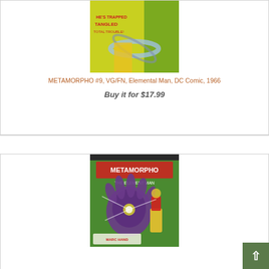[Figure (illustration): Cropped comic book cover showing action scene on yellow/green background with Metamorpho character]
METAMORPHO #9, VG/FN, Elemental Man, DC Comic, 1966
Buy it for $17.99
[Figure (illustration): Metamorpho The Element Man comic book cover showing a large purple hand/creature and superhero character on green background]